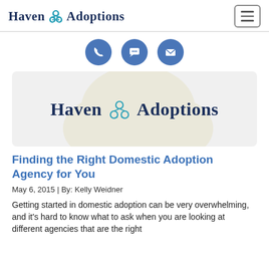[Figure (logo): Haven Adoptions logo in header nav bar with hamburger menu icon]
[Figure (infographic): Three blue circular icons: phone, chat bubble, envelope]
[Figure (logo): Haven Adoptions logo centered on gray banner with watermark]
Finding the Right Domestic Adoption Agency for You
May 6, 2015 | By: Kelly Weidner
Getting started in domestic adoption can be very overwhelming, and it's hard to know what to ask when you are looking at different agencies that are the right